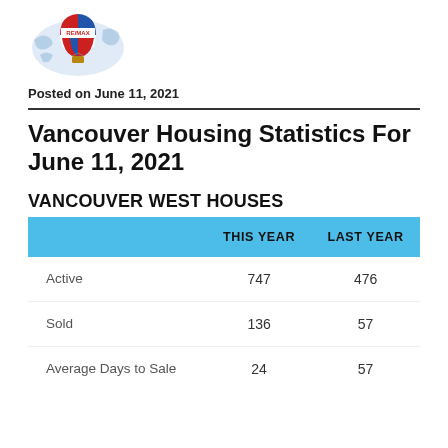[Figure (logo): RE/MAX logo with hot air balloon and world map background]
Posted on June 11, 2021
Vancouver Housing Statistics For June 11, 2021
VANCOUVER WEST HOUSES
|  | THIS YEAR | LAST YEAR |
| --- | --- | --- |
| Active | 747 | 476 |
| Sold | 136 | 57 |
| Average Days to Sale | 24 | 57 |